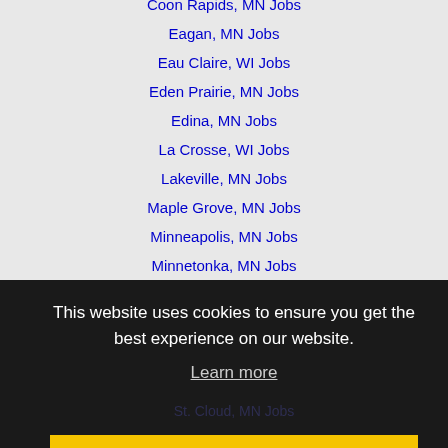Coon Rapids, MN Jobs
Eagan, MN Jobs
Eau Claire, WI Jobs
Eden Prairie, MN Jobs
Edina, MN Jobs
La Crosse, WI Jobs
Lakeville, MN Jobs
Maple Grove, MN Jobs
Minneapolis, MN Jobs
Minnetonka, MN Jobs
Plymouth, MN Jobs
This website uses cookies to ensure you get the best experience on our website.
Learn more
Got it!
St. Cloud, MN Jobs
Home  Profile and Resume  Browse Jobs  Employers  Other Cities  Clients List  About Us  Contact Us  Help